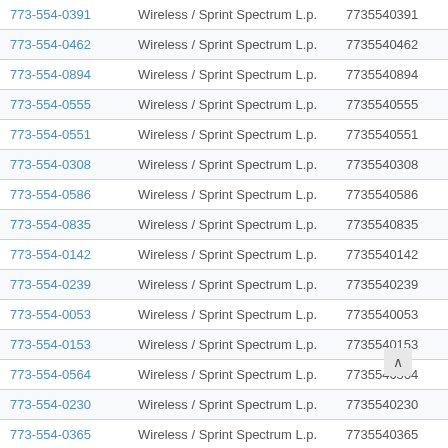| Phone | Carrier | Number |  |
| --- | --- | --- | --- |
| 773-554-0391 | Wireless / Sprint Spectrum L.p. | 7735540391 | Vie… |
| 773-554-0462 | Wireless / Sprint Spectrum L.p. | 7735540462 | Vie… |
| 773-554-0894 | Wireless / Sprint Spectrum L.p. | 7735540894 | Vie… |
| 773-554-0555 | Wireless / Sprint Spectrum L.p. | 7735540555 | Vie… |
| 773-554-0551 | Wireless / Sprint Spectrum L.p. | 7735540551 | Vie… |
| 773-554-0308 | Wireless / Sprint Spectrum L.p. | 7735540308 | Vie… |
| 773-554-0586 | Wireless / Sprint Spectrum L.p. | 7735540586 | Vie… |
| 773-554-0835 | Wireless / Sprint Spectrum L.p. | 7735540835 | Vie… |
| 773-554-0142 | Wireless / Sprint Spectrum L.p. | 7735540142 | Vie… |
| 773-554-0239 | Wireless / Sprint Spectrum L.p. | 7735540239 | Vie… |
| 773-554-0053 | Wireless / Sprint Spectrum L.p. | 7735540053 | Vie… |
| 773-554-0153 | Wireless / Sprint Spectrum L.p. | 7735540153 | Vie… |
| 773-554-0564 | Wireless / Sprint Spectrum L.p. | 7735540564 | Vie… |
| 773-554-0230 | Wireless / Sprint Spectrum L.p. | 7735540230 | Vie… |
| 773-554-0365 | Wireless / Sprint Spectrum L.p. | 7735540365 | ‘ie… |
| 773-554-0126 | Wireless / Sprint Spectrum L.p. | 7735540126 | ’ie… |
| 773-554-0728 | Wireless / Sprint Spectrum L.p. | 7735540728 | Vie… |
| 773-554-0159 | Wireless / Sprint Spectrum L.p. | 7735540159 | Vie… |